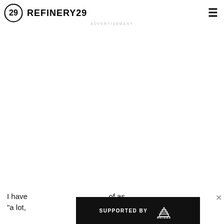REFINERY29
ADVERTISEMENT
I have of as "a lot," unt
[Figure (other): Adidas 'SUPPORTED BY adidas' sponsored advertisement banner overlaid on bottom portion of page, showing adidas logo and a person (athlete) on right side]